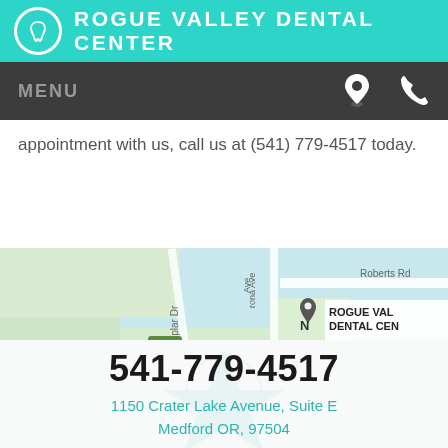ROGUE VALLEY DENTAL CENTER
MENU
appointment with us, call us at (541) 779-4517 today.
[Figure (map): Google Maps screenshot showing area around Rogue Valley Dental Center in Medford, OR. Visible streets include Roberts Rd, Poplar Dr, Johnson St, Arizona Ave. Business label ROGUE VALLEY DENTAL CENTER shown on map.]
541-779-4517
1150 Crater Lake Avenue, Suite E
Medford OR, 97504